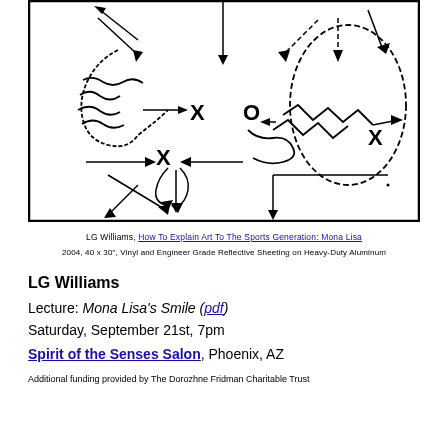[Figure (schematic): A football play diagram showing X and O markers with arrows indicating player movements, dashed lines, and zigzag lines on a rectangular field diagram.]
LG Williams, How To Explain Art To The Sports Generation: Mona Lisa
2004, 40 x 30", Vinyl and Engineer Grade Reflective Sheeting on Heavy-Duty Aluminum
LG Williams
Lecture: Mona Lisa's Smile (pdf)
Saturday, September 21st, 7pm
Spirit of the Senses Salon, Phoenix, AZ
Additional funding provided by The Dorozhne Fridman Charitable Trust